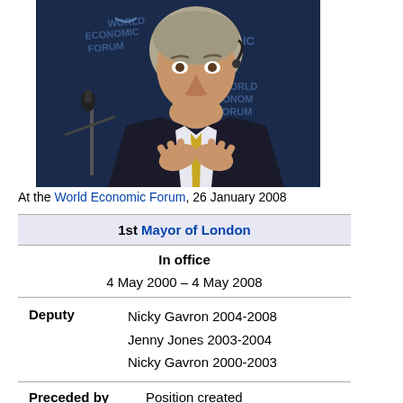[Figure (photo): Man with greying hair wearing a dark suit and yellow tie, sitting at a panel with his hands clasped together, at the World Economic Forum. A microphone is visible to his left and the World Economic Forum logo/backdrop is behind him.]
At the World Economic Forum, 26 January 2008
| 1st Mayor of London |
| In office |
| 4 May 2000 – 4 May 2008 |
| Deputy | Nicky Gavron 2004-2008
Jenny Jones 2003-2004
Nicky Gavron 2000-2003 |
| Preceded by | Position created |
| Succeeded by | Boris Johnson |